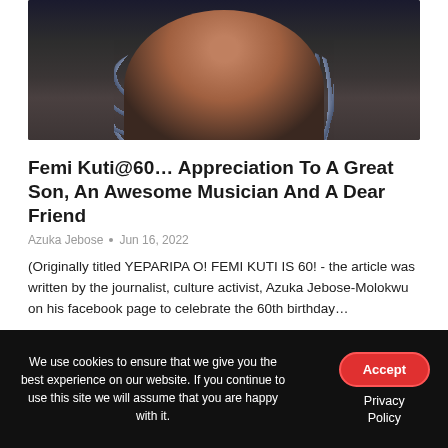[Figure (photo): Portrait of Femi Kuti, a musician wearing a patterned blue/grey shirt and holding a trumpet, photographed against a dark background]
Femi Kuti@60… Appreciation To A Great Son, An Awesome Musician And A Dear Friend
Azuka Jebose  •  Jun 16, 2022
(Originally titled YEPARIPA O! FEMI KUTI IS 60! - the article was written by the journalist, culture activist, Azuka Jebose-Molokwu on his facebook page to celebrate the 60th birthday…
READ MORE...
We use cookies to ensure that we give you the best experience on our website. If you continue to use this site we will assume that you are happy with it.
Accept
Privacy Policy